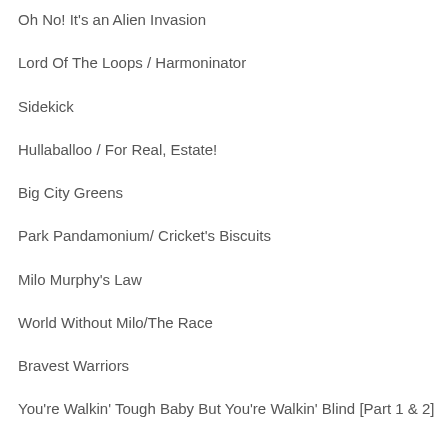Oh No! It's an Alien Invasion
Lord Of The Loops / Harmoninator
Sidekick
Hullaballoo / For Real, Estate!
Big City Greens
Park Pandamonium/ Cricket's Biscuits
Milo Murphy's Law
World Without Milo/The Race
Bravest Warriors
You're Walkin' Tough Baby But You're Walkin' Blind [Part 1 & 2]